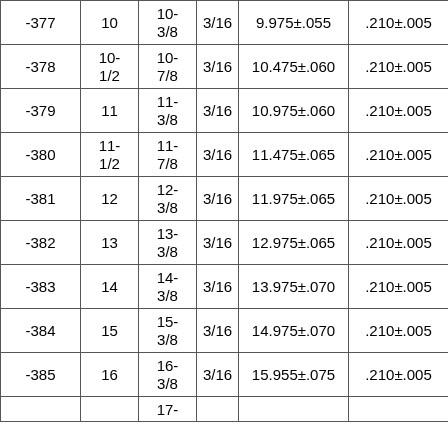| -377 | 10 | 10-3/8 | 3/16 | 9.975±.055 | .210±.005 |
| -378 | 10-1/2 | 10-7/8 | 3/16 | 10.475±.060 | .210±.005 |
| -379 | 11 | 11-3/8 | 3/16 | 10.975±.060 | .210±.005 |
| -380 | 11-1/2 | 11-7/8 | 3/16 | 11.475±.065 | .210±.005 |
| -381 | 12 | 12-3/8 | 3/16 | 11.975±.065 | .210±.005 |
| -382 | 13 | 13-3/8 | 3/16 | 12.975±.065 | .210±.005 |
| -383 | 14 | 14-3/8 | 3/16 | 13.975±.070 | .210±.005 |
| -384 | 15 | 15-3/8 | 3/16 | 14.975±.070 | .210±.005 |
| -385 | 16 | 16-3/8 | 3/16 | 15.955±.075 | .210±.005 |
|  |  | 17- |  |  |  |